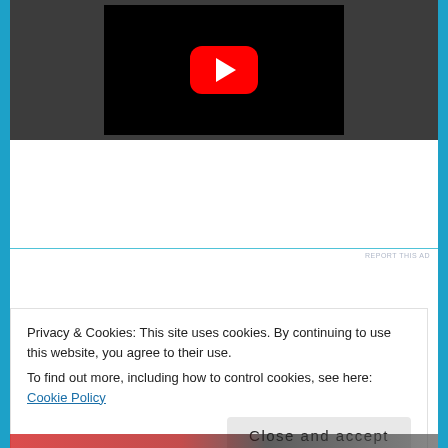[Figure (screenshot): YouTube video embed player with red play button over a dark/black and white video thumbnail, set against a dark gray background]
REPORT THIS AD
Privacy & Cookies: This site uses cookies. By continuing to use this website, you agree to their use.
To find out more, including how to control cookies, see here: Cookie Policy
Close and accept